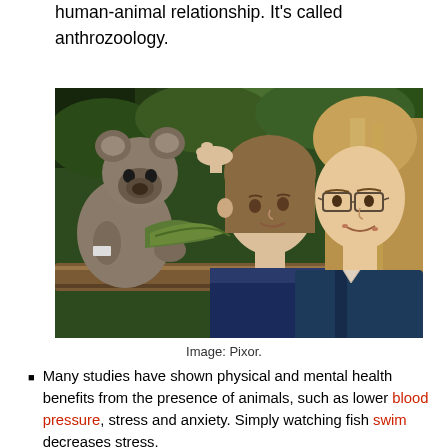human-animal relationship. It's called anthrozoology.
[Figure (photo): Two young women looking at a koala bear perched on a wooden railing in an outdoor enclosure surrounded by green foliage.]
Image: Pixor.
Many studies have shown physical and mental health benefits from the presence of animals, such as lower blood pressure, stress and anxiety. Simply watching fish swim decreases stress.